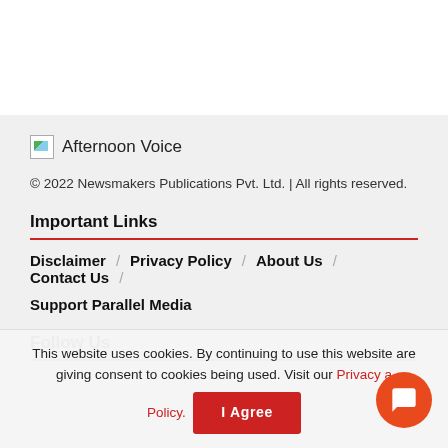[Figure (logo): Afternoon Voice logo with broken image icon and text]
© 2022 Newsmakers Publications Pvt. Ltd. | All rights reserved.
Important Links
Disclaimer
Privacy Policy
About Us
Contact Us
Support Parallel Media
Follow Us
This website uses cookies. By continuing to use this website are giving consent to cookies being used. Visit our Privacy Policy.
I Agree